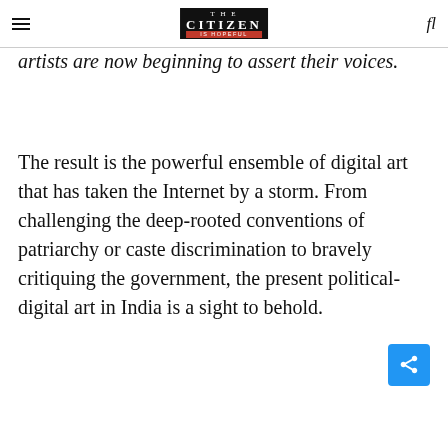THE CITIZEN IS HOPEFUL
artists are now beginning to assert their voices.
The result is the powerful ensemble of digital art that has taken the Internet by a storm. From challenging the deep-rooted conventions of patriarchy or caste discrimination to bravely critiquing the government, the present political-digital art in India is a sight to behold.